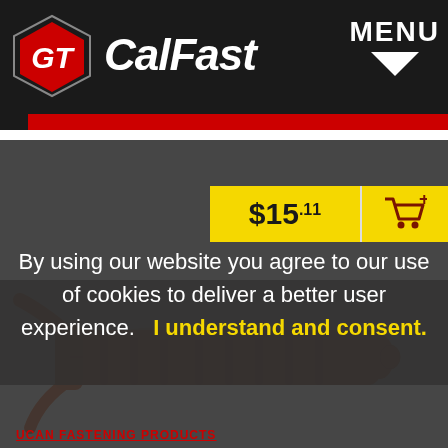CalFast — MENU
$15.11
By using our website you agree to our use of cookies to deliver a better user experience.   I understand and consent.
[Figure (photo): Orange plastic anchor wall plug fastener product photo on white background, partially obscured by dark overlay]
UCAN FASTENING PRODUCTS